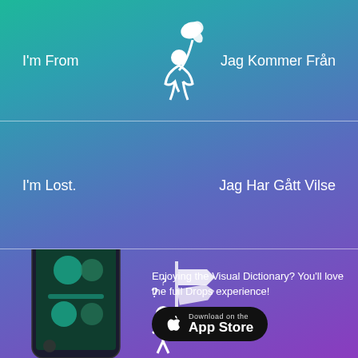[Figure (illustration): White illustrated icon of a person holding up Italy map shape, section 1]
I'm From
Jag Kommer Från
[Figure (illustration): White illustrated icon of a confused person with question marks and directional signs]
I'm Lost.
Jag Har Gått Vilse
[Figure (screenshot): Smartphone showing the Drops language learning app interface with visual vocabulary items]
Enjoying the Visual Dictionary? You'll love the full Drops experience!
Download on the App Store